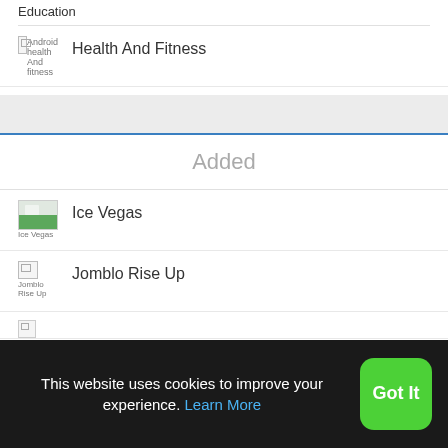Education
Android health And fitness | Health And Fitness
Added
Ice Vegas
Jomblo Rise Up
This website uses cookies to improve your experience. Learn More
Got It